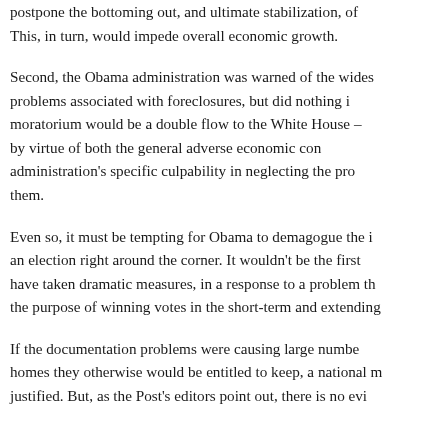postpone the bottoming out, and ultimate stabilization, of This, in turn, would impede overall economic growth.
Second, the Obama administration was warned of the wides problems associated with foreclosures, but did nothing i moratorium would be a double flow to the White House – by virtue of both the general adverse economic cor administration's specific culpability in neglecting the pro them.
Even so, it must be tempting for Obama to demagogue the i an election right around the corner. It wouldn't be the first have taken dramatic measures, in a response to a problem th the purpose of winning votes in the short-term and extending
If the documentation problems were causing large numbe homes they otherwise would be entitled to keep, a national m justified. But, as the Post's editors point out, there is no evi